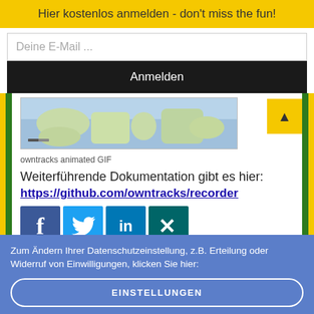Hier kostenlos anmelden - don't miss the fun!
Deine E-Mail ...
Anmelden
[Figure (map): Owntracks animated GIF showing world map]
owntracks animated GIF
Weiterführende Dokumentation gibt es hier:
https://github.com/owntracks/recorder
[Figure (infographic): Social media share buttons: Facebook, Twitter, LinkedIn, Xing]
Zum Ändern Ihrer Datenschutzeinstellung, z.B. Erteilung oder Widerruf von Einwilligungen, klicken Sie hier:
EINSTELLUNGEN